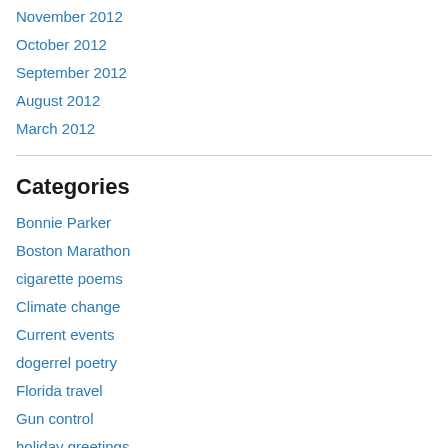November 2012
October 2012
September 2012
August 2012
March 2012
Categories
Bonnie Parker
Boston Marathon
cigarette poems
Climate change
Current events
dogerrel poetry
Florida travel
Gun control
holiday greetings
Life
Middle East